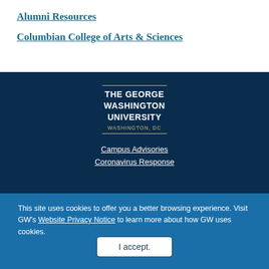Alumni Resources
Columbian College of Arts & Sciences
[Figure (logo): The George Washington University, Washington, DC logo with gold horizontal rules]
Campus Advisories
Coronavirus Response
This site uses cookies to offer you a better browsing experience. Visit GW's Website Privacy Notice to learn more about how GW uses cookies.
I accept.